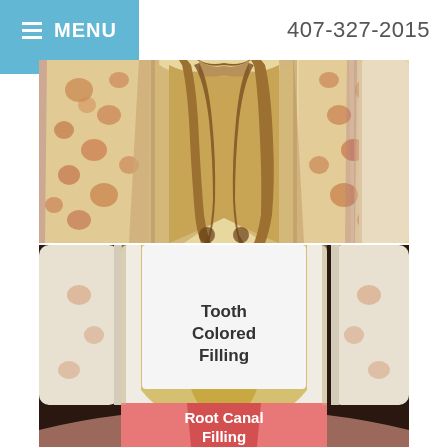≡ MENU   407-327-2015
[Figure (illustration): Cross-section anatomical illustration of a tooth root canal showing inner pulp canal, yellow dentin, and surrounding bone tissue with blood vessel spots]
[Figure (illustration): Cross-section dental illustration showing a tooth with 'Tooth Colored Filling' label in white area and 'Root Canal Filling' label in pink/red root area, with adjacent teeth visible on dark background]